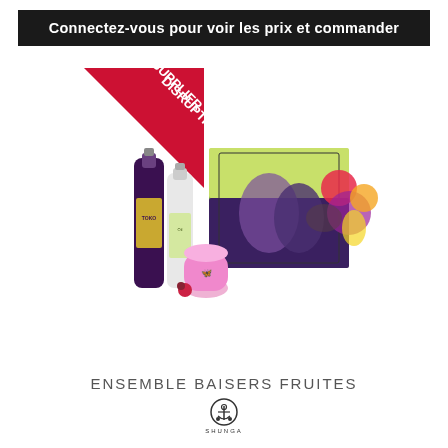Connectez-vous pour voir les prix et commander
[Figure (photo): Product photo of Shunga 'Ensemble Baisers Fruites' (Fruity Kisses Set) showing bottles of massage oil (TOKO branded), a small pink jar, a decorative gift box with Japanese couple artwork, and fruits in the background. A red triangular badge reads 'SUPPLIER DISRUPTION'.]
ENSEMBLE BAISERS FRUITES
[Figure (logo): Shunga brand logo: circular emblem with anchor symbol above text 'SHUNGA']